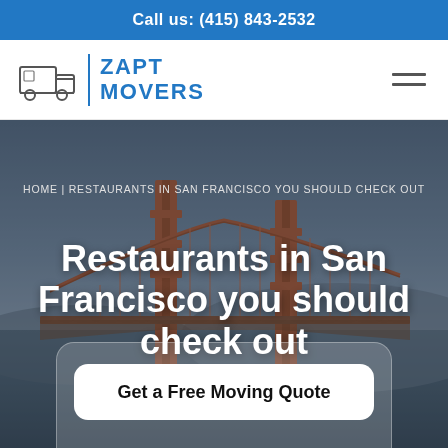Call us: (415) 843-2532
[Figure (logo): Zapt Movers logo with truck icon and company name in blue]
HOME | RESTAURANTS IN SAN FRANCISCO YOU SHOULD CHECK OUT
Restaurants in San Francisco you should check out
[Figure (photo): Golden Gate Bridge at dusk with dark overlay]
Get a Free Moving Quote